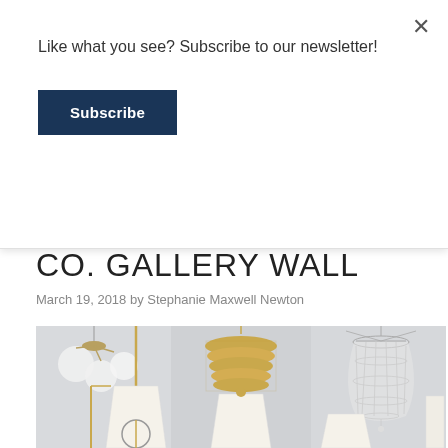Like what you see? Subscribe to our newsletter!
Subscribe
CO. GALLERY WALL
March 19, 2018 by Stephanie Maxwell Newton
[Figure (photo): Collection of decorative lighting fixtures including chandeliers, pendant lights, table lamps, and floor lamps displayed on a gray background. Features globe pendants, a gold stacked disc chandelier, a crystal chandelier, various table lamps with white shades, and floor lamps in brass/gold finishes.]